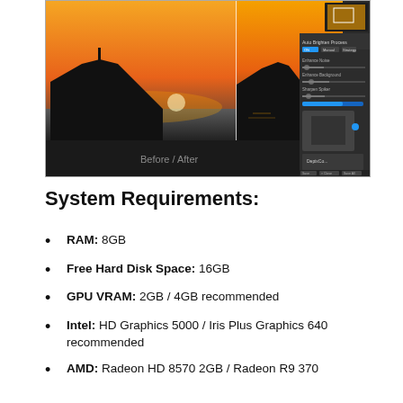[Figure (screenshot): Screenshot of a photo editing application showing a sunset landscape image being edited, with a before/after split view and a panel on the right showing editing controls including sliders for Reduce Noise, Enhance Background, Sharpen Spiker, and a preview thumbnail.]
System Requirements:
RAM: 8GB
Free Hard Disk Space: 16GB
GPU VRAM: 2GB / 4GB recommended
Intel: HD Graphics 5000 / Iris Plus Graphics 640 recommended
AMD: Radeon HD 8570 2GB / Radeon R9 370...